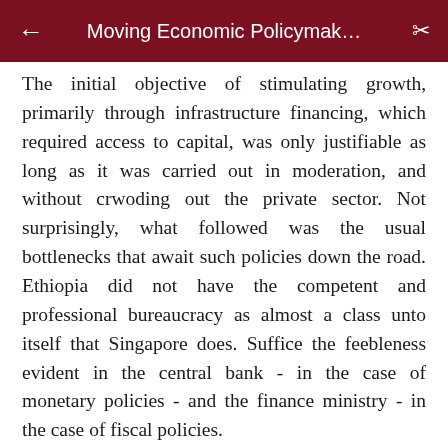Moving Economic Policymak…
The initial objective of stimulating growth, primarily through infrastructure financing, which required access to capital, was only justifiable as long as it was carried out in moderation, and without crwoding out the private sector. Not surprisingly, what followed was the usual bottlenecks that await such policies down the road. Ethiopia did not have the competent and professional bureaucracy as almost a class unto itself that Singapore does. Suffice the feebleness evident in the central bank - in the case of monetary policies - and the finance ministry - in the case of fiscal policies.
Neither does Ethiopia have the necessary checks and balances that keep political favouratism and partisan interests from becoming indistinguishable from the responsibilities of the state to society. The outcome was not only a waste to public resources through corruption and inefficiency but a policy that gave way to the misguided allocations of labour and capital in…